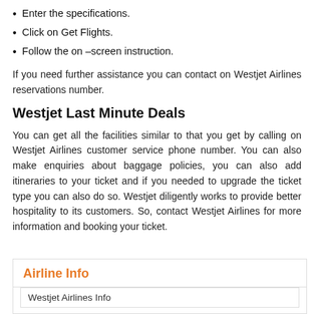Enter the specifications.
Click on Get Flights.
Follow the on –screen instruction.
If you need further assistance you can contact on Westjet Airlines reservations number.
Westjet Last Minute Deals
You can get all the facilities similar to that you get by calling on Westjet Airlines customer service phone number. You can also make enquiries about baggage policies, you can also add itineraries to your ticket and if you needed to upgrade the ticket type you can also do so. Westjet diligently works to provide better hospitality to its customers. So, contact Westjet Airlines for more information and booking your ticket.
Airline Info
Westjet Airlines Info